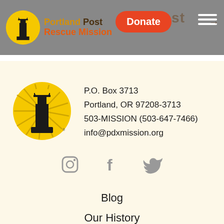[Figure (logo): Portland Rescue Mission logo with lighthouse icon and brand name in header]
[Figure (logo): Portland Rescue Mission circular lighthouse logo in footer contact area]
P.O. Box 3713
Portland, OR 97208-3713
503-MISSION (503-647-7466)
info@pdxmission.org
[Figure (illustration): Social media icons: Instagram, Facebook, Twitter]
Blog
Our History